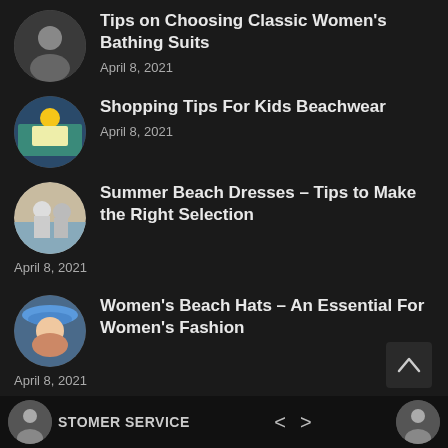Tips on Choosing Classic Women's Bathing Suits
April 8, 2021
Shopping Tips For Kids Beachwear
April 8, 2021
Summer Beach Dresses – Tips to Make the Right Selection
April 8, 2021
Women's Beach Hats – An Essential For Women's Fashion
April 8, 2021
CUSTOMER SERVICE  <  >